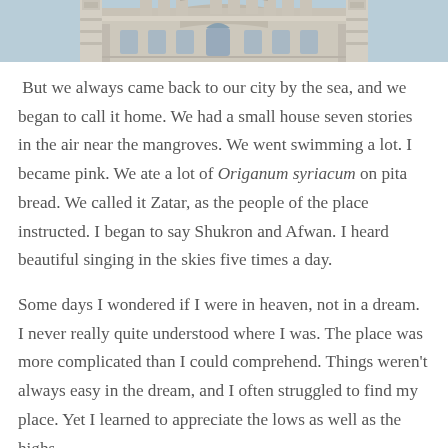[Figure (photo): Top portion of an ornate mosque building with minarets and detailed stonework against a blue sky, cropped to show only the upper facade.]
But we always came back to our city by the sea, and we began to call it home. We had a small house seven stories in the air near the mangroves. We went swimming a lot. I became pink. We ate a lot of Origanum syriacum on pita bread. We called it Zatar, as the people of the place instructed. I began to say Shukron and Afwan. I heard beautiful singing in the skies five times a day.
Some days I wondered if I were in heaven, not in a dream. I never really quite understood where I was. The place was more complicated than I could comprehend. Things weren't always easy in the dream, and I often struggled to find my place. Yet I learned to appreciate the lows as well as the highs.